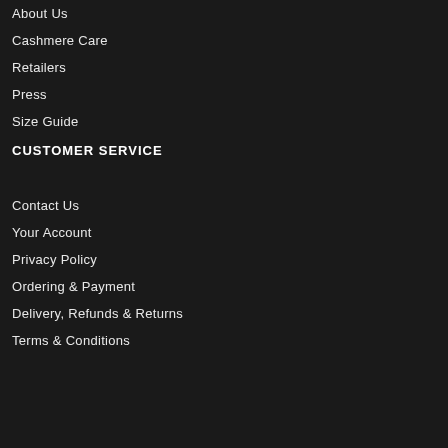About Us
Cashmere Care
Retailers
Press
Size Guide
CUSTOMER SERVICE
Contact Us
Your Account
Privacy Policy
Ordering & Payment
Delivery, Refunds & Returns
Terms & Conditions